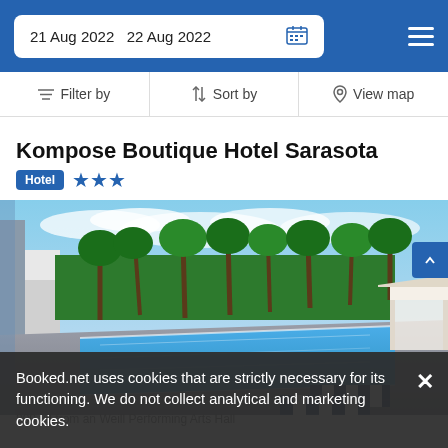21 Aug 2022  22 Aug 2022
Filter by  |  Sort by  |  View map
Kompose Boutique Hotel Sarasota
Hotel ★★★
[Figure (photo): Outdoor rooftop pool area with palm trees, blue sky, and striped lounge chairs. A white cabana is visible on the right side.]
Booked.net uses cookies that are strictly necessary for its functioning. We do not collect analytical and marketing cookies.